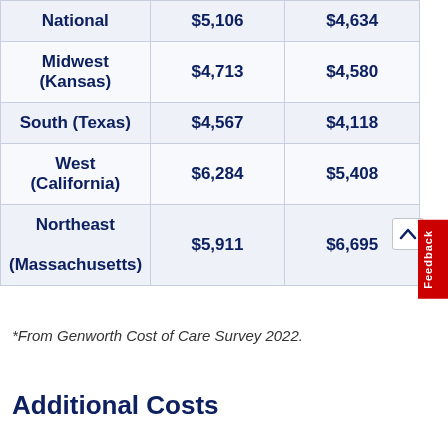| Region | Col2 | Col3 |
| --- | --- | --- |
| National | $5,106 | $4,634 |
| Midwest (Kansas) | $4,713 | $4,580 |
| South (Texas) | $4,567 | $4,118 |
| West (California) | $6,284 | $5,408 |
| Northeast (Massachusetts) | $5,911 | $6,695 |
*From Genworth Cost of Care Survey 2022.
Additional Costs